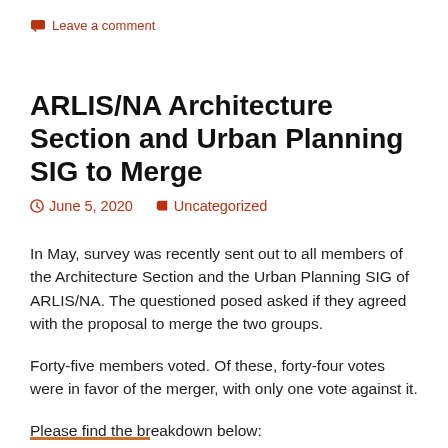Leave a comment
ARLIS/NA Architecture Section and Urban Planning SIG to Merge
June 5, 2020   Uncategorized
In May,  survey was recently sent out to all members of the Architecture Section and the Urban Planning SIG of ARLIS/NA. The questioned posed asked if they agreed with the proposal to merge the two groups.
Forty-five members voted. Of these, forty-four votes were in favor of the merger, with only one vote against it.
Please find the breakdown below: